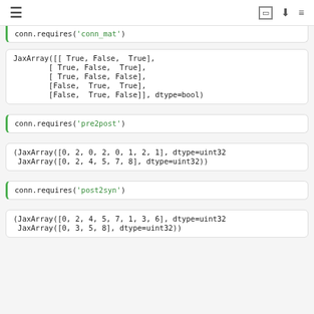≡  ⬜ ⬇ ☰
conn.requires('conn_mat')
JaxArray([[ True, False,  True],
        [ True, False,  True],
        [ True, False, False],
        [False,  True,  True],
        [False,  True, False]], dtype=bool)
conn.requires('pre2post')
(JaxArray([0, 2, 0, 2, 0, 1, 2, 1], dtype=uint32
 JaxArray([0, 2, 4, 5, 7, 8], dtype=uint32))
conn.requires('post2syn')
(JaxArray([0, 2, 4, 5, 7, 1, 3, 6], dtype=uint32
 JaxArray([0, 3, 5, 8], dtype=uint32))